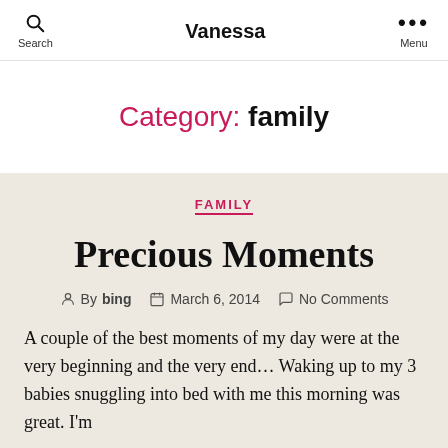Search | Vanessa | Menu
Category: family
FAMILY
Precious Moments
By bing   March 6, 2014   No Comments
A couple of the best moments of my day were at the very beginning and the very end… Waking up to my 3 babies snuggling into bed with me this morning was great.  I'm